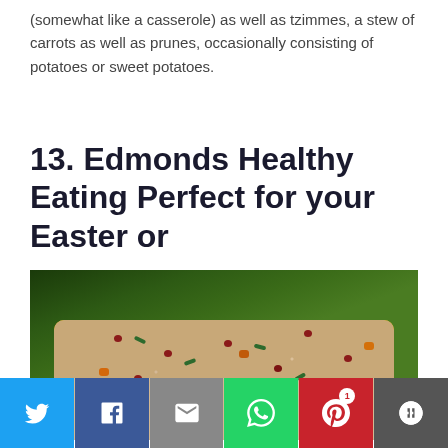(somewhat like a casserole) as well as tzimmes, a stew of carrots as well as prunes, occasionally consisting of potatoes or sweet potatoes.
13. Edmonds Healthy Eating Perfect for your Easter or
[Figure (photo): Close-up photo of a quinoa salad with cranberries, herbs, pine nuts, and orange carrot pieces in a yellow square bowl, on a dark green background.]
Twitter | Facebook | Email | WhatsApp | Pinterest (1) | More